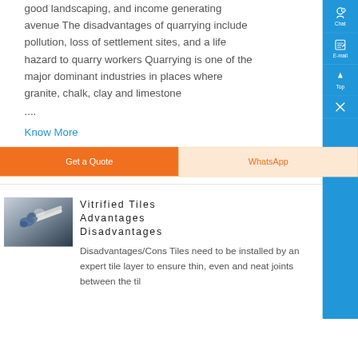good landscaping, and income generating avenue The disadvantages of quarrying include pollution, loss of settlement sites, and a life hazard to quarry workers Quarrying is one of the major dominant industries in places where granite, chalk, clay and limestone ....
Know More
[Figure (photo): Photo of a person using a drill or tool on a metallic surface]
Vitrified Tiles Advantages Disadvantages
Disadvantages/Cons Tiles need to be installed by an expert tile layer to ensure thin, even and neat joints between the til